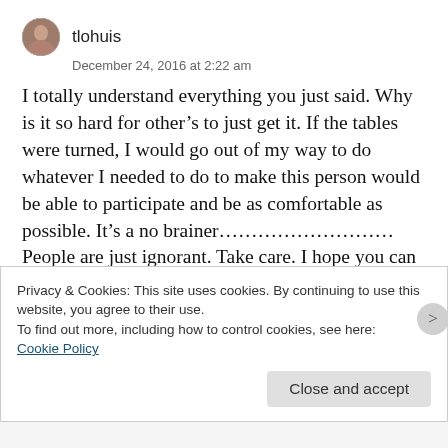[Figure (photo): Circular avatar photo of user tlohuis]
tlohuis
December 24, 2016 at 2:22 am
I totally understand everything you just said. Why is it so hard for other’s to just get it. If the tables were turned, I would go out of my way to do whatever I needed to do to make this person would be able to participate and be as comfortable as possible. It’s a no brainer……………………… People are just ignorant. Take care. I hope you can enjoy the holidays. I’m trapped in bed with shingles, so I’ll be spending the day alone.
Privacy & Cookies: This site uses cookies. By continuing to use this website, you agree to their use.
To find out more, including how to control cookies, see here: Cookie Policy
Close and accept